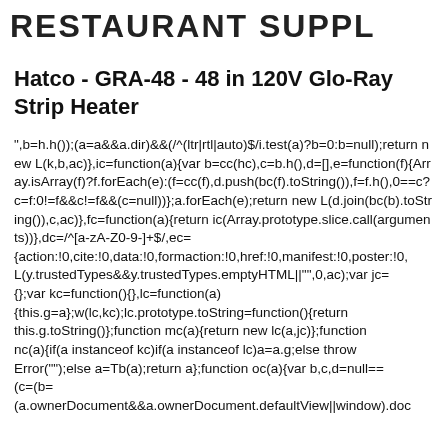RESTAURANT SUPPLY
Hatco - GRA-48 - 48 in 120V Glo-Ray Strip Heater
",b=h.h());(a=a&&a.dir)&&(/^(ltr|rtl|auto)$/i.test(a)?b=0:b=null);return new L(k,b,ac)},ic=function(a){var b=cc(hc),c=b.h(),d=[],e=function(f){Array.isArray(f)?f.forEach(e):(f=cc(f),d.push(bc(f).toString()),f=f.h(),0==c?c=f:0!=f&&c!=f&&(c=null))};a.forEach(e);return new L(d.join(bc(b).toString()),c,ac)},fc=function(a){return ic(Array.prototype.slice.call(arguments))},dc=/^[a-zA-Z0-9-]+$/,ec={action:!0,cite:!0,data:!0,formaction:!0,href:!0,manifest:!0,poster:!0,L(y.trustedTypes&&y.trustedTypes.emptyHTML||"",0,ac);var jc={};var kc=function(){},lc=function(a){this.g=a};w(lc,kc);lc.prototype.toString=function(){return this.g.toString()};function mc(a){return new lc(a,jc)};function nc(a){if(a instanceof kc)if(a instanceof lc)a=a.g;else throw Error("");else a=Tb(a);return a};function oc(a){var b,c,d=null==(c=(b=(a.ownerDocument&&a.ownerDocument.defaultView||window).doc